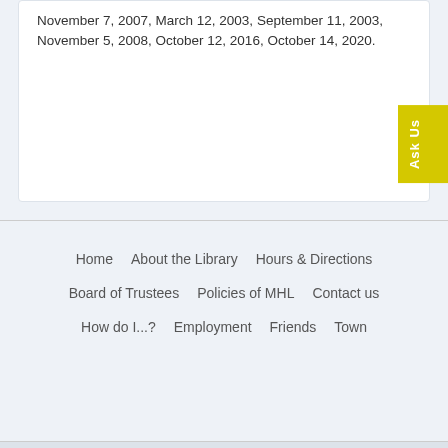November 7, 2007, March 12, 2003, September 11, 2003, November 5, 2008, October 12, 2016, October 14, 2020.
[Figure (other): Yellow 'Ask Us' vertical button tab on the right side]
Home   About the Library   Hours & Directions   Board of Trustees   Policies of MHL   Contact us   How do I...?   Employment   Friends   Town